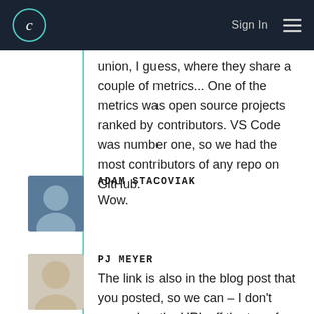C  Sign In
union, I guess, where they share a couple of metrics... One of the metrics was open source projects ranked by contributors. VS Code was number one, so we had the most contributors of any repo on GitHub.
ADAM STACOVIAK
Wow.
PJ MEYER
The link is also in the blog post that you posted, so we can – I don't remember the URL off the top of my head, but yeah...